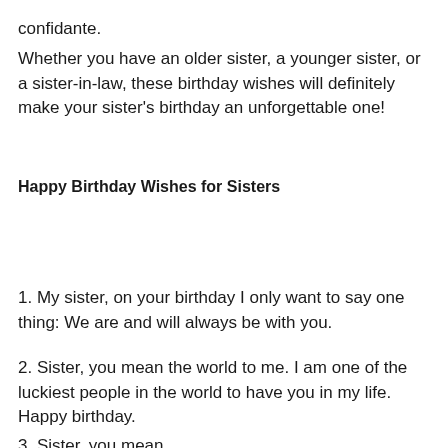confidante.
Whether you have an older sister, a younger sister, or a sister-in-law, these birthday wishes will definitely make your sister's birthday an unforgettable one!
Happy Birthday Wishes for Sisters
1. My sister, on your birthday I only want to say one thing: We are and will always be with you.
2. Sister, you mean the world to me. I am one of the luckiest people in the world to have you in my life. Happy birthday.
3. Sister, you mean...